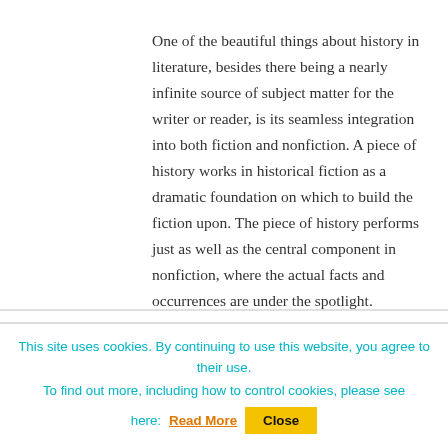One of the beautiful things about history in literature, besides there being a nearly infinite source of subject matter for the writer or reader, is its seamless integration into both fiction and nonfiction. A piece of history works in historical fiction as a dramatic foundation on which to build the fiction upon. The piece of history performs just as well as the central component in nonfiction, where the actual facts and occurrences are under the spotlight. Narrative nonfiction appeals to
This site uses cookies. By continuing to use this website, you agree to their use.
To find out more, including how to control cookies, please see here: Read More   Close